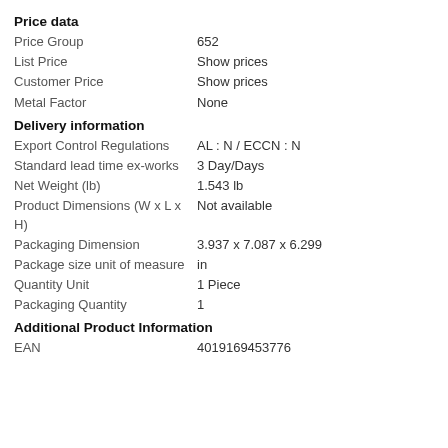Price data
Price Group: 652
List Price: Show prices
Customer Price: Show prices
Metal Factor: None
Delivery information
Export Control Regulations: AL : N / ECCN : N
Standard lead time ex-works: 3 Day/Days
Net Weight (lb): 1.543 lb
Product Dimensions (W x L x H): Not available
Packaging Dimension: 3.937 x 7.087 x 6.299
Package size unit of measure: in
Quantity Unit: 1 Piece
Packaging Quantity: 1
Additional Product Information
EAN: 4019169453776